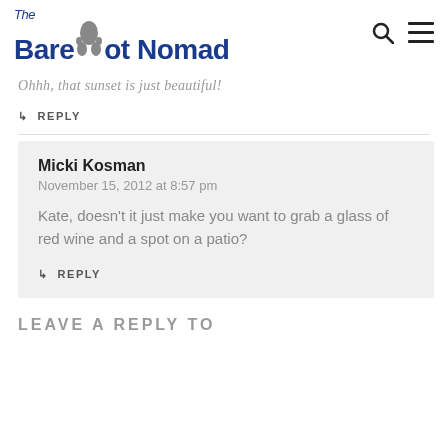The Barefoot Nomad
Ohhh, that sunset is just beautiful!
↳ REPLY
Micki Kosman
November 15, 2012 at 8:57 pm
Kate, doesn't it just make you want to grab a glass of red wine and a spot on a patio?
↳ REPLY
LEAVE A REPLY TO